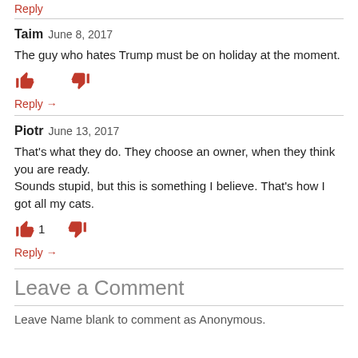Reply
Taim  June 8, 2017
The guy who hates Trump must be on holiday at the moment.
Reply →
Piotr  June 13, 2017
That's what they do. They choose an owner, when they think you are ready.
Sounds stupid, but this is something I believe. That's how I got all my cats.
Reply →
Leave a Comment
Leave Name blank to comment as Anonymous.